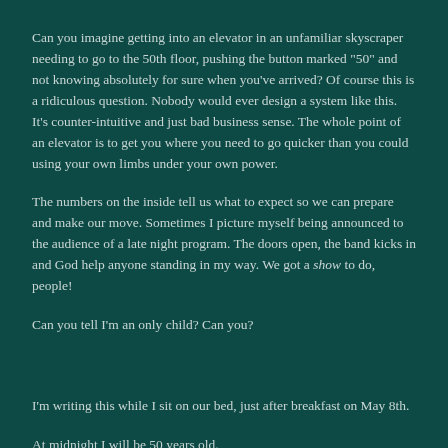Can you imagine getting into an elevator in an unfamiliar skyscraper needing to go to the 50th floor, pushing the button marked "50" and not knowing absolutely for sure when you've arrived? Of course this is a ridiculous question. Nobody would ever design a system like this. It's counter-intuitive and just bad business sense. The whole point of an elevator is to get you where you need to go quicker than you could using your own limbs under your own power.
The numbers on the inside tell us what to expect so we can prepare and make our move. Sometimes I picture myself being announced to the audience of a late night program. The doors open, the band kicks in and God help anyone standing in my way. We got a show to do, people!
Can you tell I'm an only child? Can you?
I'm writing this while I sit on our bed, just after breakfast on May 8th.
At midnight I will be 50 years old.